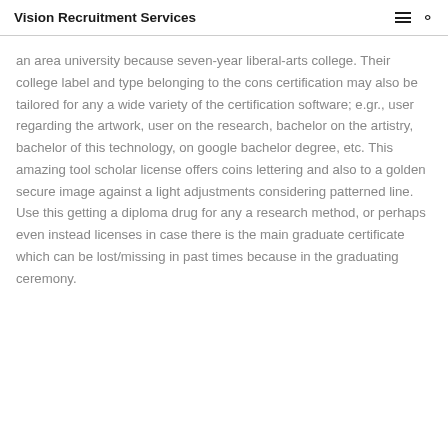Vision Recruitment Services
an area university because seven-year liberal-arts college. Their college label and type belonging to the cons certification may also be tailored for any a wide variety of the certification software; e.gr., user regarding the artwork, user on the research, bachelor on the artistry, bachelor of this technology, on google bachelor degree, etc. This amazing tool scholar license offers coins lettering and also to a golden secure image against a light adjustments considering patterned line. Use this getting a diploma drug for any a research method, or perhaps even instead licenses in case there is the main graduate certificate which can be lost/missing in past times because in the graduating ceremony.